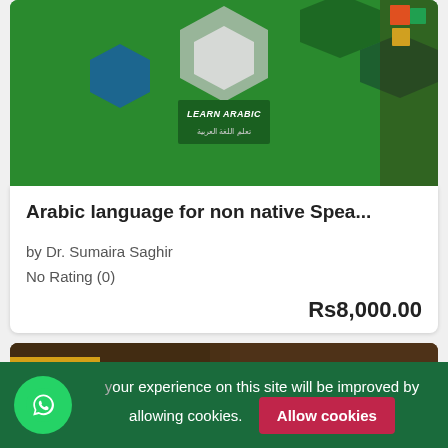[Figure (screenshot): Arabic course thumbnail with green background, hexagonal shapes, and 'LEARN ARABIC' text in English and Arabic]
Arabic language for non native Spea...
by Dr. Sumaira Saghir
No Rating (0)
Rs8,000.00
[Figure (screenshot): Urdu course thumbnail with brown/dark background showing 'URDU FOR' in large bold letters, with Beginner badge]
Your experience on this site will be improved by allowing cookies. Allow cookies